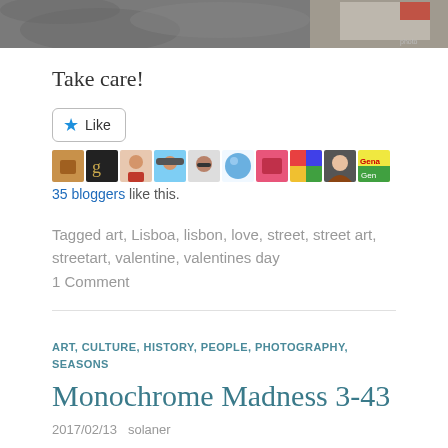[Figure (photo): Partial photo at top of page showing cobblestone pattern and partial view of items on a table]
Take care!
[Figure (other): Like button with star icon and row of 10 blogger avatar thumbnails]
35 bloggers like this.
Tagged art, Lisboa, lisbon, love, street, street art, streetart, valentine, valentines day
1 Comment
ART, CULTURE, HISTORY, PEOPLE, PHOTOGRAPHY, SEASONS
Monochrome Madness 3-43
2017/02/13   solaner